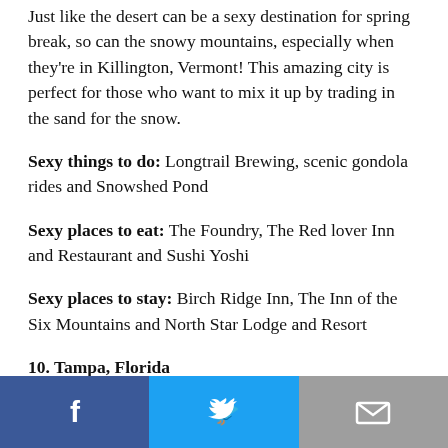Just like the desert can be a sexy destination for spring break, so can the snowy mountains, especially when they're in Killington, Vermont! This amazing city is perfect for those who want to mix it up by trading in the sand for the snow.
Sexy things to do: Longtrail Brewing, scenic gondola rides and Snowshed Pond
Sexy places to eat: The Foundry, The Red lover Inn and Restaurant and Sushi Yoshi
Sexy places to stay: Birch Ridge Inn, The Inn of the Six Mountains and North Star Lodge and Resort
10. Tampa, Florida
[Figure (infographic): Social sharing bar with Facebook, Twitter, and email icons]